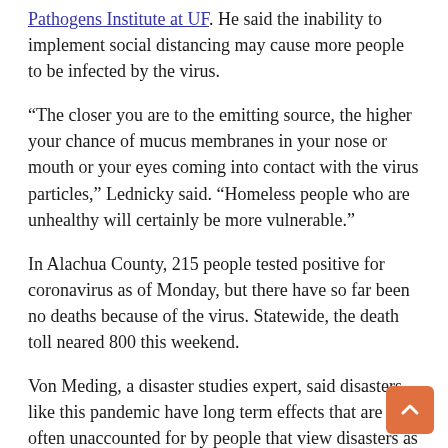Pathogens Institute at UF. He said the inability to implement social distancing may cause more people to be infected by the virus.
“The closer you are to the emitting source, the higher your chance of mucus membranes in your nose or mouth or your eyes coming into contact with the virus particles,” Lednicky said. “Homeless people who are unhealthy will certainly be more vulnerable.”
In Alachua County, 215 people tested positive for coronavirus as of Monday, but there have so far been no deaths because of the virus. Statewide, the death toll neared 800 this weekend.
Von Meding, a disaster studies expert, said disasters like this pandemic have long term effects that are often unaccounted for by people that view disasters as short term environmental events.
“Disasters give us a raw glimpse of flaws and injustices in our society,” he said. “A lot of the systems that we rely on are